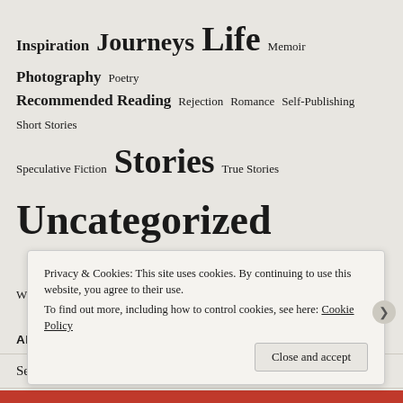Inspiration  Journeys  Life  Memoir  Photography  Poetry  Recommended Reading  Rejection  Romance  Self-Publishing  Short Stories  Speculative Fiction  Stories  True Stories  Uncategorized  Writers Groups  Writing  Writing Advice
ARCHIVES
September 2019
September 2018
April 2018
Privacy & Cookies: This site uses cookies. By continuing to use this website, you agree to their use. To find out more, including how to control cookies, see here: Cookie Policy